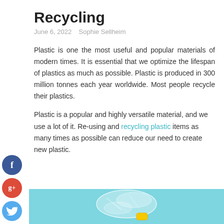Recycling
June 6, 2022   Sophie Sellheim
Plastic is one the most useful and popular materials of modern times. It is essential that we optimize the lifespan of plastics as much as possible. Plastic is produced in 300 million tonnes each year worldwide. Most people recycle their plastics.
Plastic is a popular and highly versatile material, and we use a lot of it. Re-using and recycling plastic items as many times as possible can reduce our need to create new plastic.
[Figure (photo): A crushed clear plastic bottle on a light blue/teal background, with a yellow cap visible.]